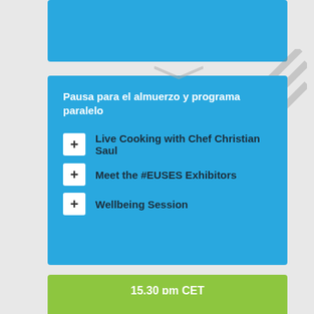Pausa para el almuerzo y programa paralelo
Live Cooking with Chef Christian Saul
Meet the #EUSES Exhibitors
Wellbeing Session
15.30 pm CET